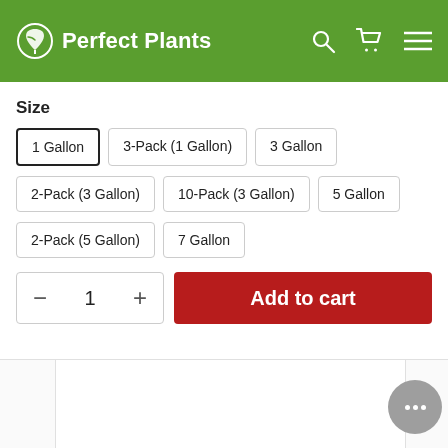Perfect Plants
Size
1 Gallon
3-Pack (1 Gallon)
3 Gallon
2-Pack (3 Gallon)
10-Pack (3 Gallon)
5 Gallon
2-Pack (5 Gallon)
7 Gallon
Add to cart